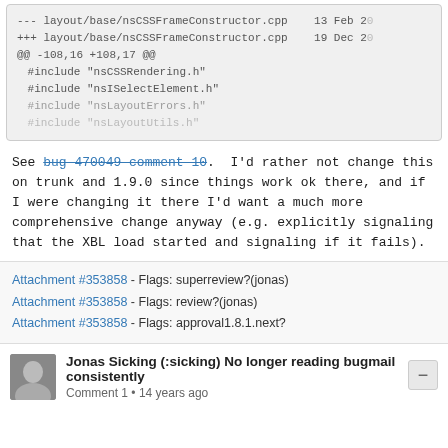[Figure (screenshot): Diff code block showing nsCSSFrameConstructor.cpp changes: --- layout/base/nsCSSFrameConstructor.cpp 13 Feb 2..., +++ layout/base/nsCSSFrameConstructor.cpp 19 Dec 2..., @@ -108,16 +108,17 @@, #include "nsCSSRendering.h", #include "nsISelectElement.h", #include "nsLayoutErrors.h", #include "nsLayoutUtils.h" (faded)]
See bug 470049 comment 10. I'd rather not change this on trunk and 1.9.0 since things work ok there, and if I were changing it there I'd want a much more comprehensive change anyway (e.g. explicitly signaling that the XBL load started and signaling if it fails).
Attachment #353858 - Flags: superreview?(jonas)
Attachment #353858 - Flags: review?(jonas)
Attachment #353858 - Flags: approval1.8.1.next?
Jonas Sicking (:sicking) No longer reading bugmail consistently
Comment 1 • 14 years ago